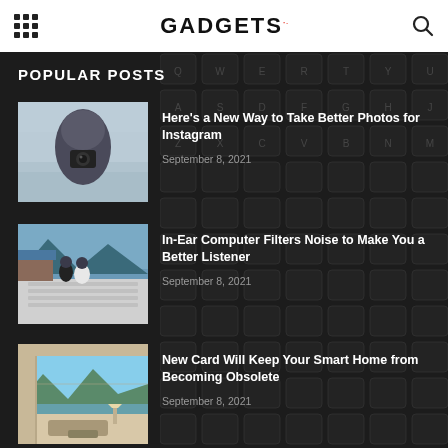GADGETS
POPULAR POSTS
[Figure (photo): Person in hooded coat holding camera in foggy outdoor setting]
Here's a New Way to Take Better Photos for Instagram
September 8, 2021
[Figure (photo): Couple sitting on a dock by the water with mountains in background]
In-Ear Computer Filters Noise to Make You a Better Listener
September 8, 2021
[Figure (photo): Modern interior room with large windows overlooking mountains and lake]
New Card Will Keep Your Smart Home from Becoming Obsolete
September 8, 2021